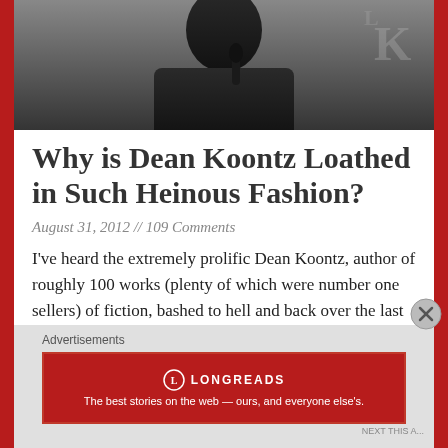[Figure (photo): Partial photo of Dean Koontz at a press event, dark background with partial text visible]
Why is Dean Koontz Loathed in Such Heinous Fashion?
August 31, 2012 // 109 Comments
I've heard the extremely prolific Dean Koontz, author of roughly 100 works (plenty of which were number one sellers) of fiction, bashed to hell and back over the last few Read more [...]
Advertisements
[Figure (screenshot): Longreads advertisement banner: The best stories on the web — ours, and everyone else's.]